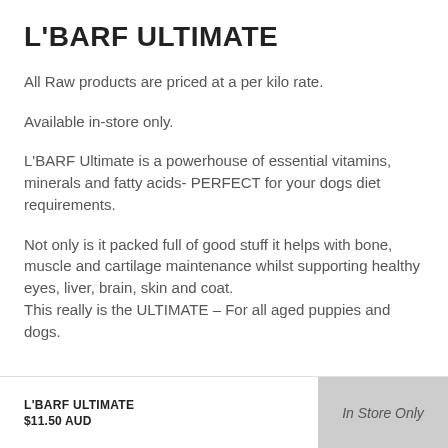L'BARF ULTIMATE
All Raw products are priced at a per kilo rate.
Available in-store only.
L'BARF Ultimate is a powerhouse of essential vitamins, minerals and fatty acids- PERFECT for your dogs diet requirements.
Not only is it packed full of good stuff it helps with bone, muscle and cartilage maintenance whilst supporting healthy eyes, liver, brain, skin and coat.
This really is the ULTIMATE – For all aged puppies and dogs.
L'BARF ULTIMATE
$11.50 AUD
In Store Only